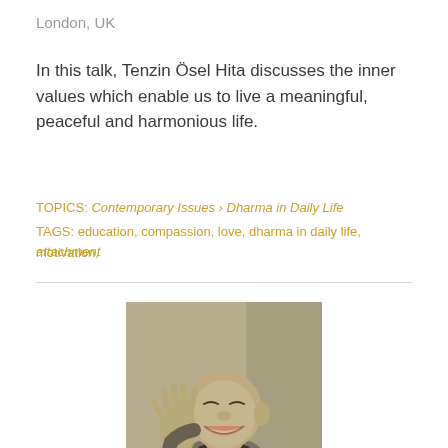London, UK
In this talk, Tenzin Ösel Hita discusses the inner values which enable us to live a meaningful, peaceful and harmonious life.
TOPICS: Contemporary Issues > Dharma in Daily Life
TAGS: education, compassion, love, dharma in daily life, motivation, attachment
[Figure (photo): Black and white photograph of Tenzin Ösel Hita, a smiling Buddhist monk in robes, gesturing with one hand raised, with decorative background]